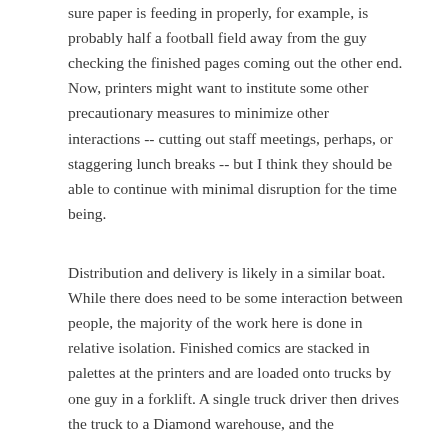sure paper is feeding in properly, for example, is probably half a football field away from the guy checking the finished pages coming out the other end. Now, printers might want to institute some other precautionary measures to minimize other interactions -- cutting out staff meetings, perhaps, or staggering lunch breaks -- but I think they should be able to continue with minimal disruption for the time being.
Distribution and delivery is likely in a similar boat. While there does need to be some interaction between people, the majority of the work here is done in relative isolation. Finished comics are stacked in palettes at the printers and are loaded onto trucks by one guy in a forklift. A single truck driver then drives the truck to a Diamond warehouse, and the